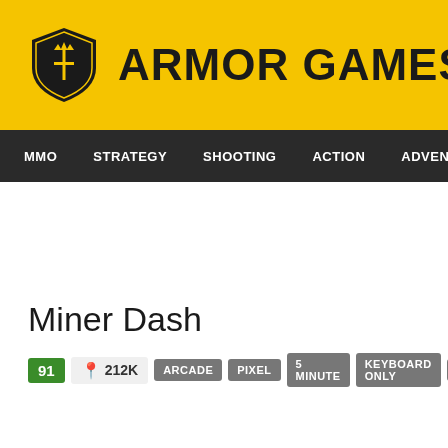ARMOR GAMES
MMO | STRATEGY | SHOOTING | ACTION | ADVENTURE
Miner Dash
91 | 212K | ARCADE | PIXEL | 5 MINUTE | KEYBOARD ONLY | HTML